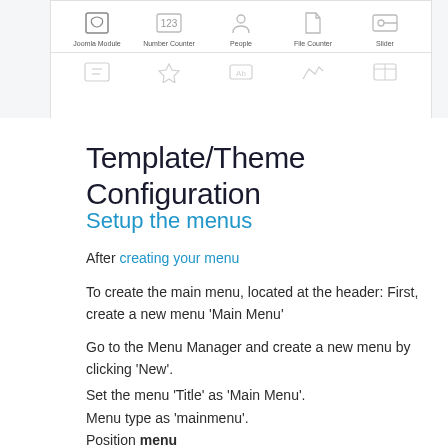[Figure (screenshot): Screenshot of a module/widget selection grid showing icons for Joomla Module, Number Counter, People, File Counter, Slider and other items in two rows.]
Template/Theme Configuration
Setup the menus
After creating your menu
To create the main menu, located at the header: First, create a new menu 'Main Menu'
Go to the Menu Manager and create a new menu by clicking 'New'.
Set the menu 'Title' as 'Main Menu'.
Menu type as 'mainmenu'.
Position menu